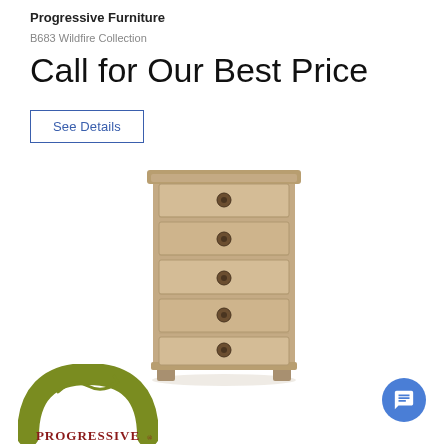Progressive Furniture
B683 Wildfire Collection
Call for Our Best Price
See Details
[Figure (photo): A tall five-drawer chest/lingerie chest in a weathered gray-brown wood finish, with round dark metal knobs on each drawer. The piece has a traditional style with molded top and bracket-style feet.]
[Figure (logo): Progressive Furniture logo — a stylized olive/gold arch design with a cursive arrow flourish above the word PROGRESSIVE in dark red/maroon serif letters.]